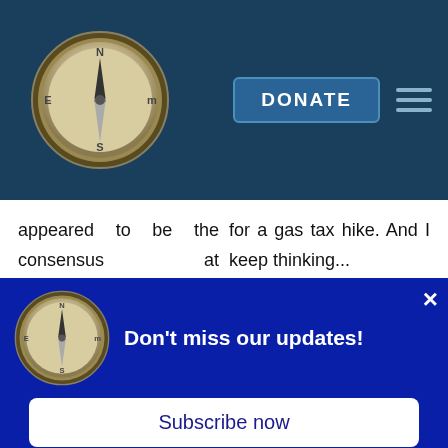[Figure (logo): Compass logo in circular frame on dark blue header bar with DONATE button and hamburger menu]
appeared to be the consensus at commuter...
for a gas tax hike. And I keep thinking...
[Figure (illustration): Two article card thumbnails side by side, each with a gray circle edit icon]
[Figure (screenshot): Modal popup with dark blue background, compass logo, 'Don't miss our updates!' heading, close X button, and 'Subscribe now' button]